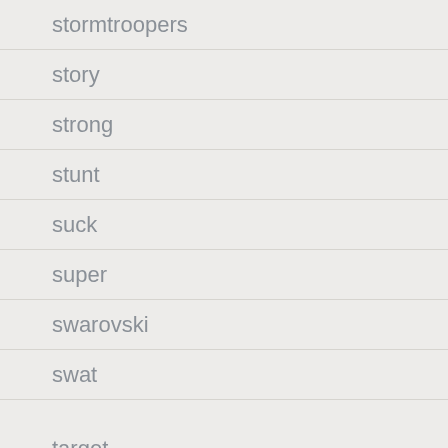stormtroopers
story
strong
stunt
suck
super
swarovski
swat
target